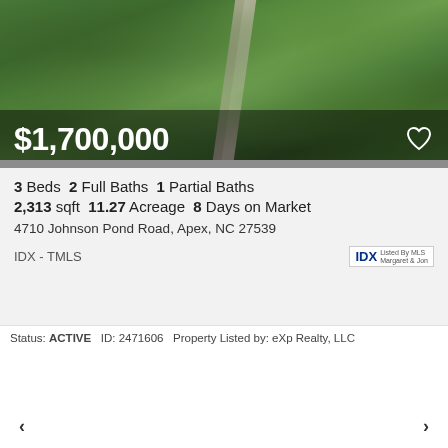[Figure (photo): Aerial drone photo of wooded property with winding road]
$1,700,000
3 Beds  2 Full Baths  1 Partial Baths
2,313 sqft  11.27 Acreage  8 Days on Market
4710 Johnson Pond Road, Apex, NC 27539
IDX - TMLS
Status: ACTIVE  ID: 2471606  Property Listed by: eXp Realty, LLC
[Figure (photo): Aerial photo of wooded property with house visible through trees, blue sky with clouds]
New
1 of 12